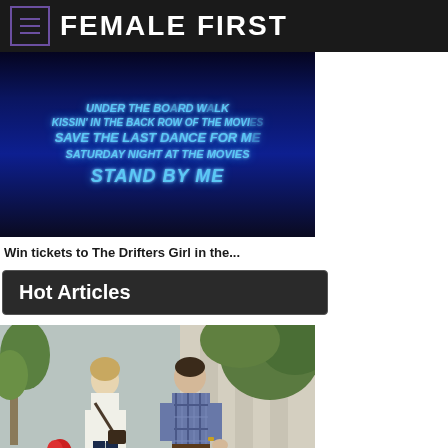FEMALE FIRST
[Figure (photo): Dark blue background with song titles in glowing blue italic text: UNDER THE BOARDWALK, KISSIN' IN THE BACK ROW OF THE MOVIES, SAVE THE LAST DANCE FOR ME, SATURDAY NIGHT AT THE MOVIES, STAND BY ME]
Win tickets to The Drifters Girl in the...
Hot Articles
[Figure (photo): A woman with blonde hair wearing a white top and carrying a shoulder bag walks alongside a man in a plaid shirt, with green plants and architectural columns in the background]